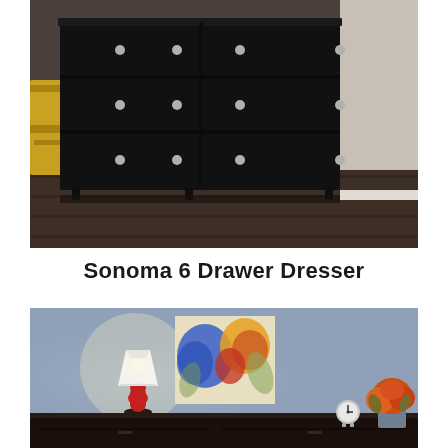[Figure (photo): A black six-drawer dresser photographed in a room with dark hardwood floors. Yellow storage boxes visible on the left side, white wall and baseboard on the right.]
Sonoma 6 Drawer Dresser
[Figure (photo): A dark wood dresser/sofa table against a blue-gray wall. On top sits a red ceramic lamp with white shade on the left, a floral painting on canvas hanging on the wall in the center, and a small clock and orange flower arrangement on the right.]